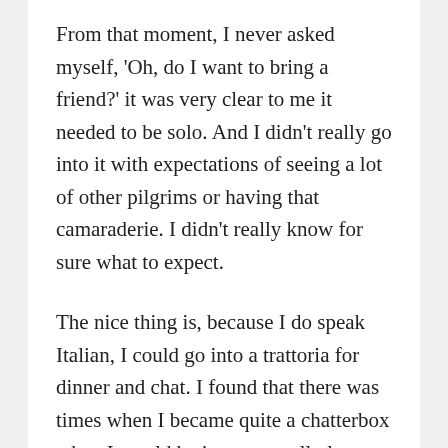From that moment, I never asked myself, ‘Oh, do I want to bring a friend?’ it was very clear to me it needed to be solo. And I didn’t really go into it with expectations of seeing a lot of other pilgrims or having that camaraderie. I didn’t really know for sure what to expect.
The nice thing is, because I do speak Italian, I could go into a trattoria for dinner and chat. I found that there was times when I became quite a chatterbox when I would be in very small places off the beaten path. So, maybe often a trattoria that was quite empty or I was there after hours and whoever was working there just had time. You know what I mean? It was not a fast-paced